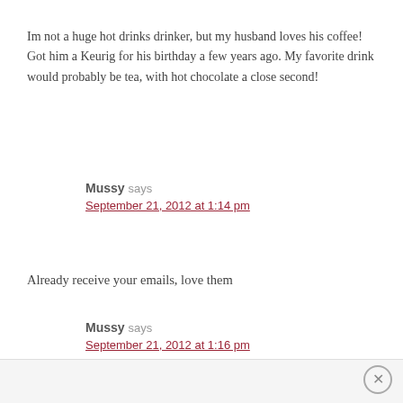Im not a huge hot drinks drinker, but my husband loves his coffee! Got him a Keurig for his birthday a few years ago. My favorite drink would probably be tea, with hot chocolate a close second!
Mussy says
September 21, 2012 at 1:14 pm
Already receive your emails, love them
Mussy says
September 21, 2012 at 1:16 pm
And already ‘liked’ on FB!